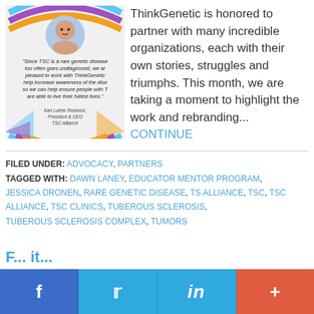[Figure (infographic): TSC Alliance quote card with rainbow arc, woman portrait, quote about TSC being a rare genetic disease, and attribution to Kari Luther Rosbeck, President & CEO TSC Alliance]
ThinkGenetic is honored to partner with many incredible organizations, each with their own stories, struggles and triumphs. This month, we are taking a moment to highlight the work and rebranding... CONTINUE
FILED UNDER: ADVOCACY, PARTNERS
TAGGED WITH: DAWN LANEY, EDUCATOR MENTOR PROGRAM, JESSICA DRONEN, RARE GENETIC DISEASE, TS ALLIANCE, TSC, TSC ALLIANCE, TSC CLINICS, TUBEROUS SCLEROSIS, TUBEROUS SCLEROSIS COMPLEX, TUMORS
[Figure (infographic): Social share bar with Facebook, Twitter, LinkedIn, and plus buttons]